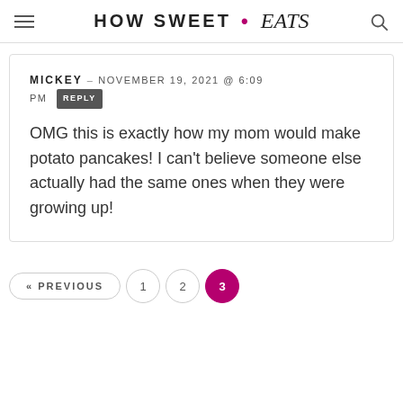HOW SWEET • eats
MICKEY – NOVEMBER 19, 2021 @ 6:09 PM REPLY
OMG this is exactly how my mom would make potato pancakes! I can't believe someone else actually had the same ones when they were growing up!
« PREVIOUS  1  2  3